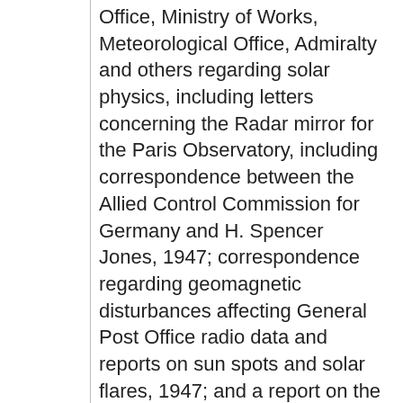Office, Ministry of Works, Meteorological Office, Admiralty and others regarding solar physics, including letters concerning the Radar mirror for the Paris Observatory, including correspondence between the Allied Control Commission for Germany and H. Spencer Jones, 1947; correspondence regarding geomagnetic disturbances affecting General Post Office radio data and reports on sun spots and solar flares, 1947; and a report on the 'Solar Location... Dates: 1944 – 1947